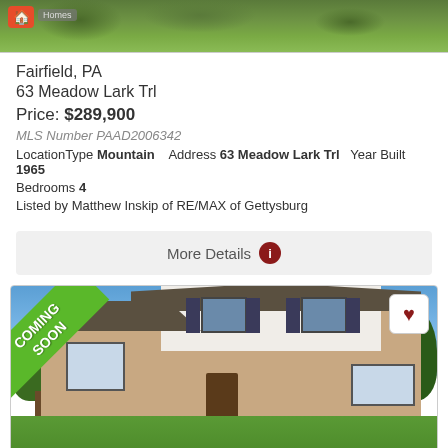[Figure (photo): Top landscape/greenery photo with home icon and Homes label]
Fairfield, PA
63 Meadow Lark Trl
Price: $289,900
MLS Number PAAD2006342
LocationType Mountain   Address 63 Meadow Lark Trl   Year Built 1965
Bedrooms 4
Listed by Matthew Inskip of RE/MAX of Gettysburg
More Details
[Figure (photo): Exterior photo of a two-story brick and white siding home with Coming Soon banner and heart favorite button]